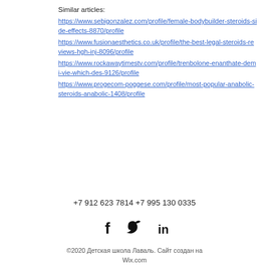Similar articles:
https://www.sebigonzalez.com/profile/female-bodybuilder-steroids-side-effects-8870/profile
https://www.fusionaesthetics.co.uk/profile/the-best-legal-steroids-reviews-hgh-inj-8096/profile
https://www.rockawaytimestv.com/profile/trenbolone-enanthate-demi-vie-which-des-9126/profile
https://www.progecom-poggese.com/profile/most-popular-anabolic-steroids-anabolic-1408/profile
+7 912 623 7814 +7 995 130 0335
©2020 Детская школа Лаваль. Сайт создан на Wix.com